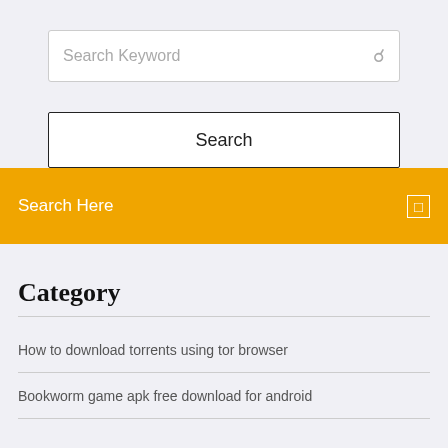Search Keyword
Search
Search Here
Category
How to download torrents using tor browser
Bookworm game apk free download for android